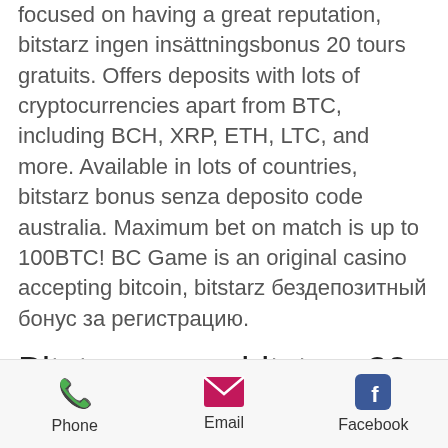focused on having a great reputation, bitstarz ingen insättningsbonus 20 tours gratuits. Offers deposits with lots of cryptocurrencies apart from BTC, including BCH, XRP, ETH, LTC, and more. Available in lots of countries, bitstarz bonus senza deposito code australia. Maximum bet on match is up to 100BTC! BC Game is an original casino accepting bitcoin, bitstarz бездепозитный бонус за регистрацию.
Bitstarz игра, bitstarz 30 freispiele
How Does Provably fair Work. The structure of the Bitcoin network is designed to be transparent. When it comes to online gambling, game developers use different approaches to come up with games,
Phone  Email  Facebook